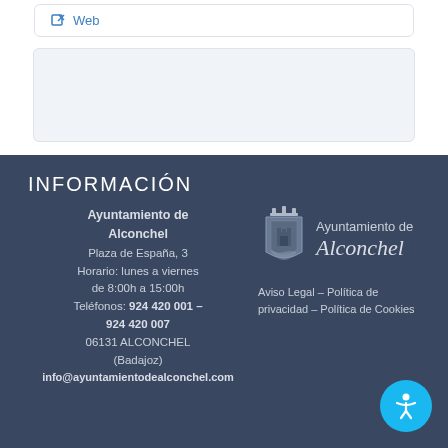Web
INFORMACIÓN
Ayuntamiento de Alconchel
Plaza de España, 3
Horario: lunes a viernes de 8:00h a 15:00h
Teléfonos: 924 420 001 – 924 420 007
06131 ALCONCHEL (Badajoz)
info@ayuntamientodealconchel.com
[Figure (logo): Ayuntamiento de Alconchel coat of arms and text logo]
Aviso Legal – Política de privacidad – Política de Cookies
[Figure (other): Accessibility button with person icon]